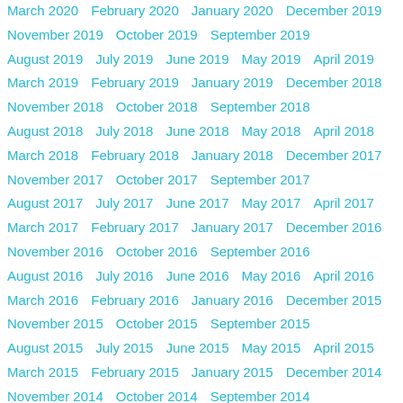March 2020  February 2020  January 2020  December 2019
November 2019  October 2019  September 2019
August 2019  July 2019  June 2019  May 2019  April 2019
March 2019  February 2019  January 2019  December 2018
November 2018  October 2018  September 2018
August 2018  July 2018  June 2018  May 2018  April 2018
March 2018  February 2018  January 2018  December 2017
November 2017  October 2017  September 2017
August 2017  July 2017  June 2017  May 2017  April 2017
March 2017  February 2017  January 2017  December 2016
November 2016  October 2016  September 2016
August 2016  July 2016  June 2016  May 2016  April 2016
March 2016  February 2016  January 2016  December 2015
November 2015  October 2015  September 2015
August 2015  July 2015  June 2015  May 2015  April 2015
March 2015  February 2015  January 2015  December 2014
November 2014  October 2014  September 2014
August 2014  July 2014  June 2014  May 2014  April 2014